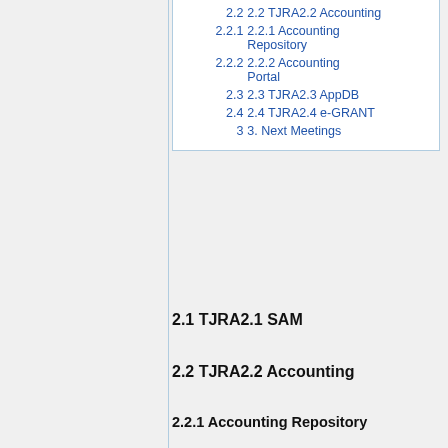2.2  2.2 TJRA2.2 Accounting
2.2.1  2.2.1 Accounting Repository
2.2.2  2.2.2 Accounting Portal
2.3  2.3 TJRA2.3 AppDB
2.4  2.4 TJRA2.4 e-GRANT
3  3. Next Meetings
2.1 TJRA2.1 SAM
2.2 TJRA2.2 Accounting
2.2.1 Accounting Repository